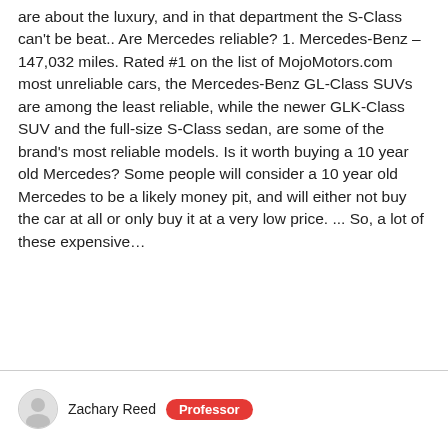are about the luxury, and in that department the S-Class can't be beat.. Are Mercedes reliable? 1. Mercedes-Benz – 147,032 miles. Rated #1 on the list of MojoMotors.com most unreliable cars, the Mercedes-Benz GL-Class SUVs are among the least reliable, while the newer GLK-Class SUV and the full-size S-Class sedan, are some of the brand's most reliable models. Is it worth buying a 10 year old Mercedes? Some people will consider a 10 year old Mercedes to be a likely money pit, and will either not buy the car at all or only buy it at a very low price. ... So, a lot of these expensive…
Zachary Reed  Professor
What Is The Most Reliable &